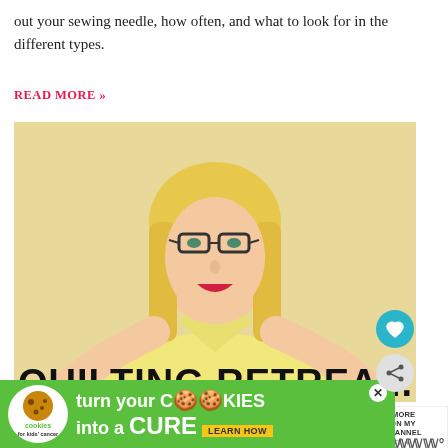out your sewing needle, how often, and what to look for in the different types.
READ MORE »
[Figure (photo): Blonde woman wearing glasses and yellow shirt, hands raised in a shrugging gesture, with large bold text 'QUILTING RETREATS' overlaid at the bottom. Heart and share icon buttons visible on the right.]
8 Reasons QUILTING RETREATS are IMPORTANT!
WHAT'S NEXT → Category - Tutorials
Quilting retreats are a great way to quilt in a group, learn
[Figure (infographic): Advertisement banner: cookies for kids' cancer - turn your COOKIES into a CURE LEARN HOW]